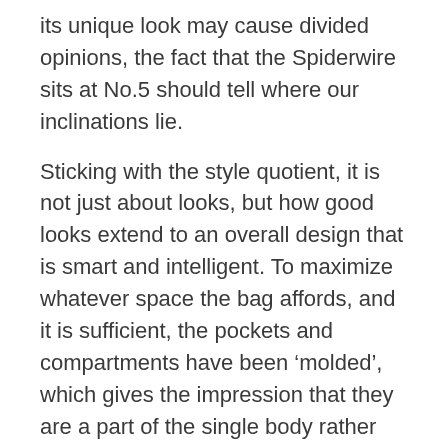its unique look may cause divided opinions, the fact that the Spiderwire sits at No.5 should tell where our inclinations lie.
Sticking with the style quotient, it is not just about looks, but how good looks extend to an overall design that is smart and intelligent. To maximize whatever space the bag affords, and it is sufficient, the pockets and compartments have been ‘molded’, which gives the impression that they are a part of the single body rather than separate storage units – a common design element of other fishing backpacks.